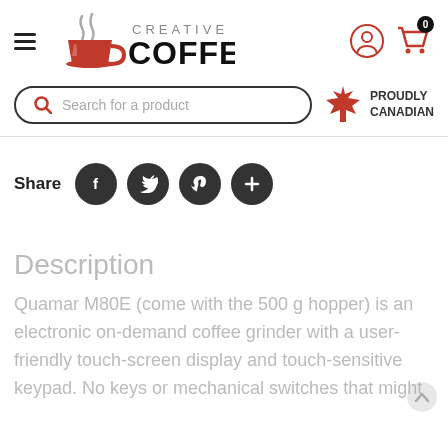[Figure (logo): Creative Coffee logo with red coffee cup icon, steam, and bold text CREATIVE COFFEE]
[Figure (illustration): User account icon and shopping cart icon with badge showing 0]
[Figure (illustration): Search bar with placeholder text 'Search for a product' and Canadian maple leaf badge with text PROUDLY CANADIAN]
Share
[Figure (illustration): Social share buttons: Facebook, Twitter, Pinterest, and plus icons as dark circular buttons]
Description
Quamar M80E (come with the 500 g hopper) is an electronic on-demand coffee grinder with a user-friendly touch-screen display and touch-sensitive keypad. No keys or mechanical switches that might